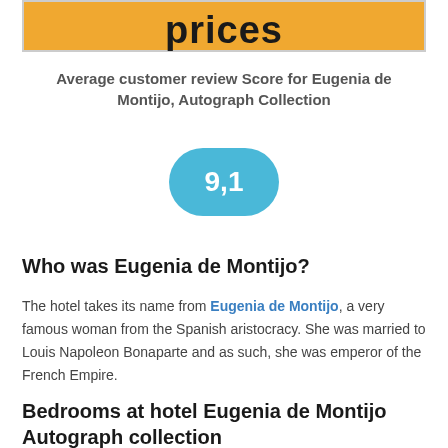[Figure (other): Orange/gold banner with large bold text partially visible at top]
Average customer review Score for Eugenia de Montijo, Autograph Collection
[Figure (other): Blue rounded pill/badge showing the score 9,1]
Who was Eugenia de Montijo?
The hotel takes its name from Eugenia de Montijo, a very famous woman from the Spanish aristocracy. She was married to Louis Napoleon Bonaparte and as such, she was emperor of the French Empire.
Bedrooms at hotel Eugenia de Montijo Autograph collection